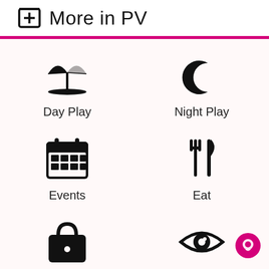More in PV
[Figure (infographic): Six category icons in a 2x3 grid: Day Play (beach umbrella), Night Play (crescent moon), Events (calendar), Eat (fork and knife), Shop (shopping bag), Read (eye icon)]
[Figure (other): Pink circular chat button in bottom right corner]